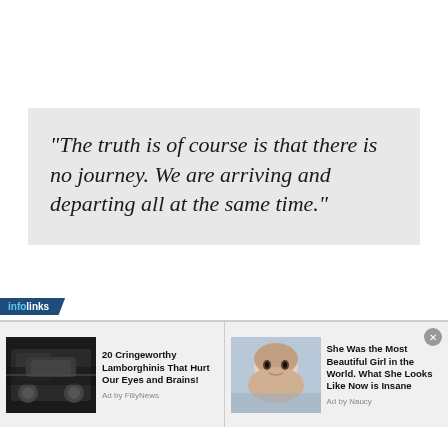“The truth is of course is that there is no journey. We are arriving and departing all at the same time.”
[Figure (infographic): Infolinks advertisement bar with two sponsored content items: 1) Car engine photo with text '20 Cringeworthy Lamborghinis That Hurt Our Eyes and Brains! Ad by FillyNews' 2) Girl portrait photo with text 'She Was the Most Beautiful Girl in the World. What She Looks Like Now is Insane Ad by Naucy']